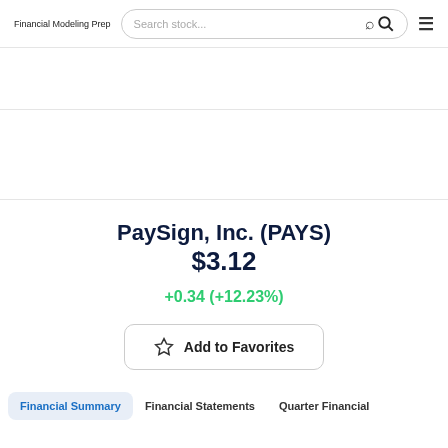Financial Modeling Prep
PaySign, Inc. (PAYS) $3.12
+0.34 (+12.23%)
Add to Favorites
Financial Summary   Financial Statements   Quarter Financial